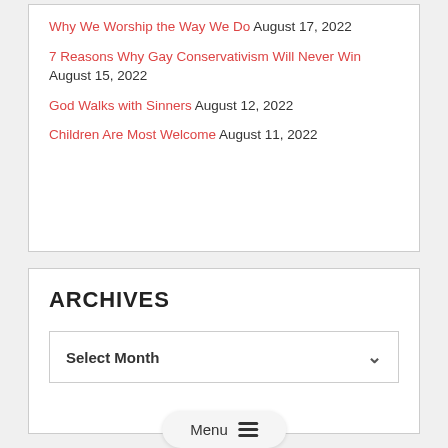Why We Worship the Way We Do August 17, 2022
7 Reasons Why Gay Conservativism Will Never Win August 15, 2022
God Walks with Sinners August 12, 2022
Children Are Most Welcome August 11, 2022
ARCHIVES
Select Month